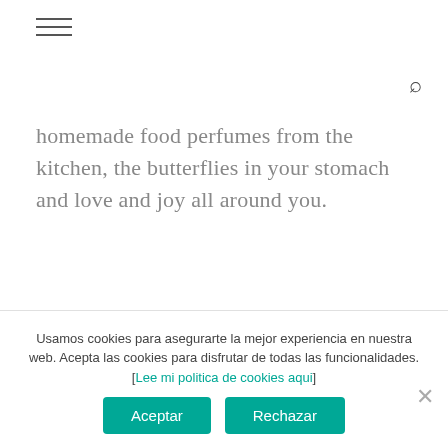[Figure (other): Hamburger menu icon (three horizontal lines)]
[Figure (other): Search (magnifying glass) icon]
homemade food perfumes from the kitchen, the butterflies in your stomach and love and joy all around you.
Alfred is one of the most skilled toymaker elves in Laponia's workshop, so Santa Claus relies on him to have all the toys ready for Christmas. Crochet this cute elf to decorate your home during the holidays and to make
Usamos cookies para asegurarte la mejor experiencia en nuestra web. Acepta las cookies para disfrutar de todas las funcionalidades. [Lee mi politica de cookies aqui]
[Figure (other): Aceptar and Rechazar cookie consent buttons]